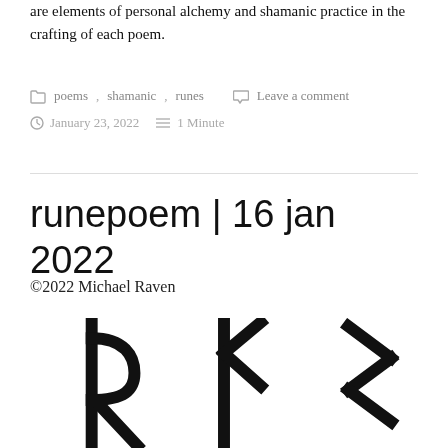are elements of personal alchemy and shamanic practice in the crafting of each poem.
poems, shamanic, runes   Leave a comment
January 23, 2022   1 Minute
runepoem | 16 jan 2022
©2022 Michael Raven
[Figure (illustration): Three runic symbols drawn in black on white background: Raido rune (left), Tiwaz/arrow rune (center), Sowilo/lightning rune (right)]